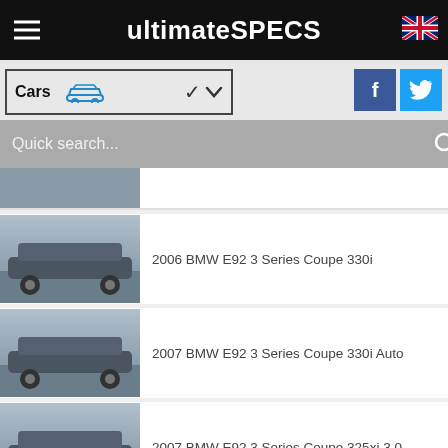ultimateSPECS
Cars
Quick search...
2006 BMW E92 3 Series Coupe 330i
2007 BMW E92 3 Series Coupe 330i Auto
2007 BMW E92 3 Series Coupe 325xi 3.0
2007 BMW E92 3 Series Coupe 325i 3.0
[Figure (screenshot): CVS Pharmacy advertisement: Shop In-Store Or Online, CVS]